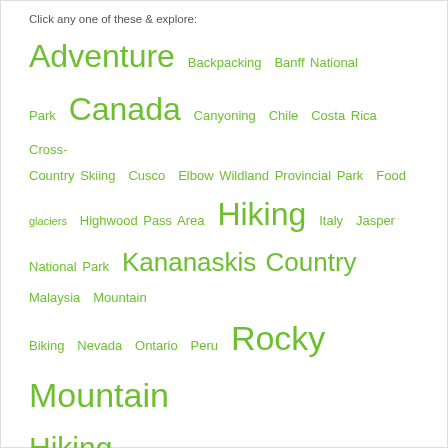Click any one of these & explore:
Adventure Backpacking Banff National Park Canada Canyoning Chile Costa Rica Cross-Country Skiing Cusco Elbow Wildland Provincial Park Food glaciers Highwood Pass Area Hiking Italy Jasper National Park Kananaskis Country Malaysia Mountain Biking Nevada Ontario Peru Rocky Mountain Hiking Russia Salkantay Trek Snapshots Snowshoeing Sport Climbing Thailand Tofino Travel Travel with Children Utah Vancouver Vancouver Island Via Ferrata Yoho National Park